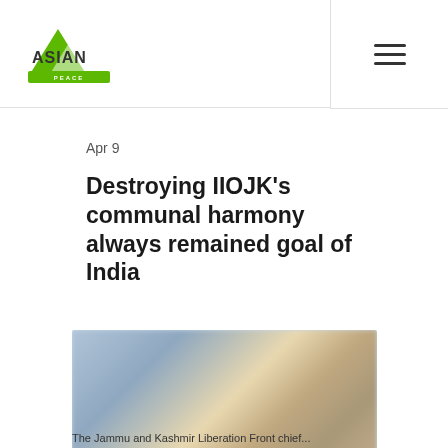[Figure (logo): Asian Peace Research logo — green triangle/arrow icon with 'ASIAN' text and 'PEACE RESEARCH' subtitle in green]
Apr 9
Destroying IIOJK's communal harmony always remained goal of India
[Figure (photo): Blurred group photo of people, possibly at a rally or meeting, with yellow banners visible in the background]
The Jammu and Kashmir Liberation Front chief...